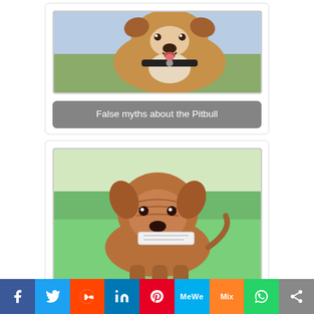[Figure (photo): Pitbull dog looking up with collar, cropped at top]
False myths about the Pitbull
[Figure (photo): Brown puppy/dog carrying a white piece of paper in its mouth, standing on grass]
Effects of neutering on male and female dogs
[Figure (photo): Partially visible dog photo, cropped at bottom of page]
Facebook Twitter Reddit LinkedIn Pinterest MeWe Mix WhatsApp Share